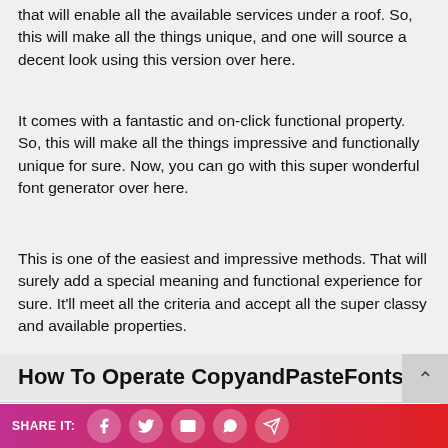that will enable all the available services under a roof. So, this will make all the things unique, and one will source a decent look using this version over here.
It comes with a fantastic and on-click functional property. So, this will make all the things impressive and functionally unique for sure. Now, you can go with this super wonderful font generator over here.
This is one of the easiest and impressive methods. That will surely add a special meaning and functional experience for sure. It'll meet all the criteria and accept all the super classy and available properties.
How To Operate CopyandPasteFonts?
↪Type or Paste↷ Your Text ← Here :)↩
SHARE IT: [social buttons]